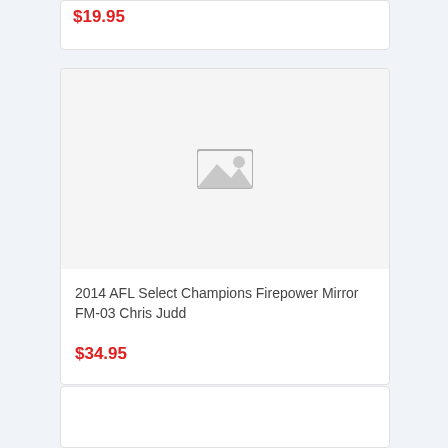$19.95
[Figure (photo): Product image placeholder with camera/image icon on light gray background]
2014 AFL Select Champions Firepower Mirror FM-03 Chris Judd
$34.95